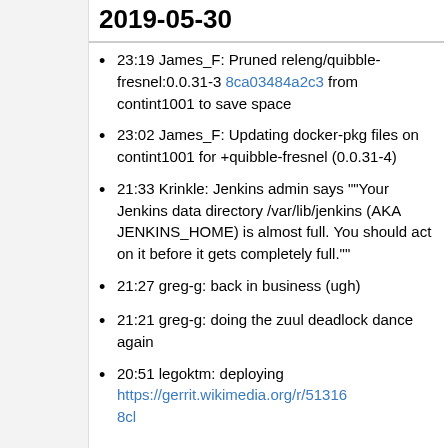2019-05-30
23:19 James_F: Pruned releng/quibble-fresnel:0.0.31-3 8ca03484a2c3 from contint1001 to save space
23:02 James_F: Updating docker-pkg files on contint1001 for +quibble-fresnel (0.0.31-4)
21:33 Krinkle: Jenkins admin says ""Your Jenkins data directory /var/lib/jenkins (AKA JENKINS_HOME) is almost full. You should act on it before it gets completely full.""
21:27 greg-g: back in business (ugh)
21:21 greg-g: doing the zuul deadlock dance again
20:51 legoktm: deploying https://gerrit.wikimedia.org/r/513168cl